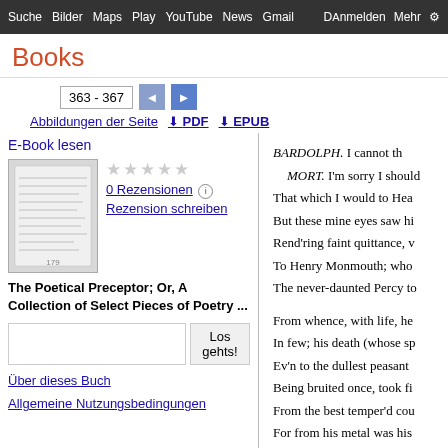Suche  Bilder  Maps  Play  YouTube  News  Gmail  D Mehr  Anmelden  ⚙
Books
363 - 367
Abbildungen der Seite  ⬇ PDF  ⬇ EPUB
E-Book lesen
[Figure (illustration): Thumbnail of book cover for The Poetical Preceptor]
0 Rezensionen  ℹ
Rezension schreiben
The Poetical Preceptor; Or, A Collection of Select Pieces of Poetry ...
Los gehts!
Über dieses Buch
Allgemeine Nutzungsbedingungen
BARDOLPH. I cannot th
MORT. I'm sorry I should
That which I would to Hea
But these mine eyes saw hi
Rend'ring faint quittance, v
To Henry Monmouth; who
The never-daunted Percy to

From whence, with life, he
In few; his death (whose sp
Ev'n to the dullest peasant
Being bruited once, took fi
From the best temper'd cou
For from his metal was his